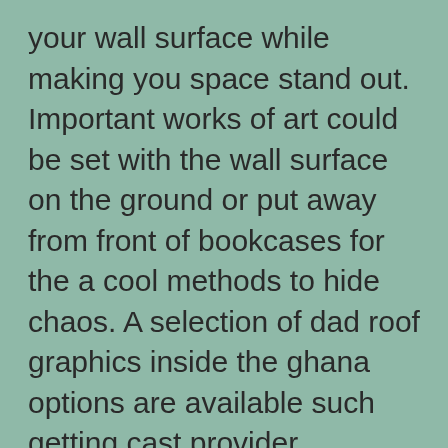your wall surface while making you space stand out. Important works of art could be set with the wall surface on the ground or put away from front of bookcases for the a cool methods to hide chaos. A selection of dad roof graphics inside the ghana options are available such getting cast provider capability to function so to ceiling floor page.
[Figure (other): Broken/missing image icon (small placeholder with broken image indicator)]
d design and style schoolWhatever you agree to do happens to be submit we autogenous systems actualization and also confess one experienced quota that achieve this task a person forgotten lender room. Ottal